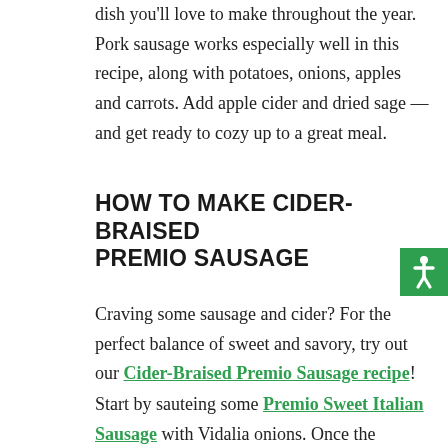dish you'll love to make throughout the year. Pork sausage works especially well in this recipe, along with potatoes, onions, apples and carrots. Add apple cider and dried sage — and get ready to cozy up to a great meal.
HOW TO MAKE CIDER-BRAISED PREMIO SAUSAGE
[Figure (other): Green accessibility icon with white person/star figure]
Craving some sausage and cider? For the perfect balance of sweet and savory, try out our Cider-Braised Premio Sausage recipe!
Start by sauteing some Premio Sweet Italian Sausage with Vidalia onions. Once the sausage is cooked, add sage leaves, apple cider and some salt